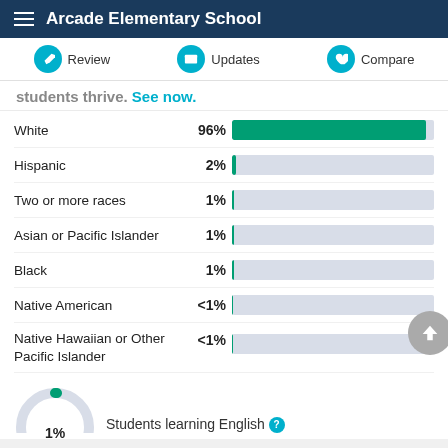Arcade Elementary School
Review | Updates | Compare
students thrive. See now.
[Figure (bar-chart): Student demographics by race/ethnicity]
[Figure (donut-chart): Students learning English]
Students learning English